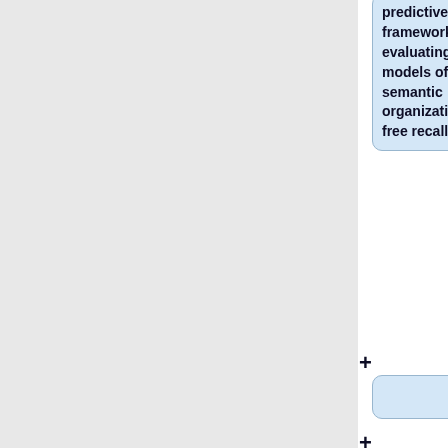predictive framework for evaluating models of semantic organization in free recall"
* '''Dylan M. Nielson, Per B. Sederberg''': "MELD: Mixed Effects for Large Datasets"
* '''Patrick Sadil, David Huber, Rosie Cowell:'''" Visual Recollection"